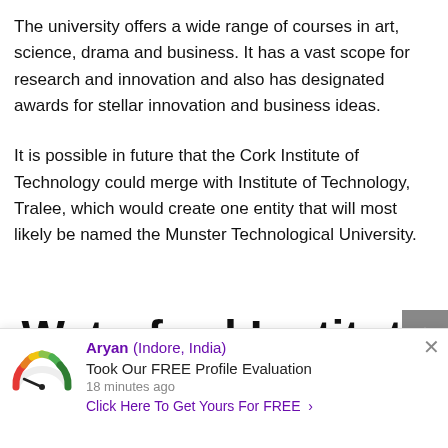The university offers a wide range of courses in art, science, drama and business. It has a vast scope for research and innovation and also has designated awards for stellar innovation and business ideas.
It is possible in future that the Cork Institute of Technology could merge with Institute of Technology, Tralee, which would create one entity that will most likely be named the Munster Technological University.
Waterford Institute of Technology
[Figure (infographic): Notification popup: Aryan (Indore, India) Took Our FREE Profile Evaluation 18 minutes ago. Click Here To Get Yours For FREE. With a speedometer/gauge icon on the left.]